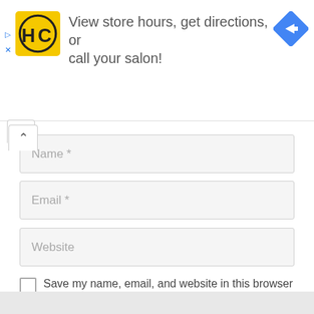[Figure (infographic): Advertisement banner: HC salon logo (yellow square with HC text and circle arrow icon), text 'View store hours, get directions, or call your salon!', blue diamond directional arrow icon on right. Play and X controls on left edge.]
Name *
Email *
Website
Save my name, email, and website in this browser for the next time I comment.
Post Comment